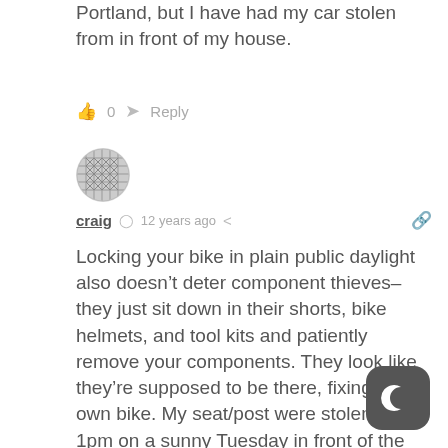Portland, but I have had my car stolen from in front of my house.
👍 0  ➤ Reply
[Figure (illustration): User avatar: circular profile picture with a crosshatch/grid pattern]
craig  🕐 12 years ago  🔗
Locking your bike in plain public daylight also doesn't deter component thieves– they just sit down in their shorts, bike helmets, and tool kits and patiently remove your components. They look like they're supposed to be there, fixing their own bike. My seat/post were stolen at 1pm on a sunny Tuesday in front of the big glass doors outside the 1000-employee high-rise where I work next to Lloyd Center Mall.
[Figure (logo): Cactus app button icon: dark rounded square with white crescent moon symbol]